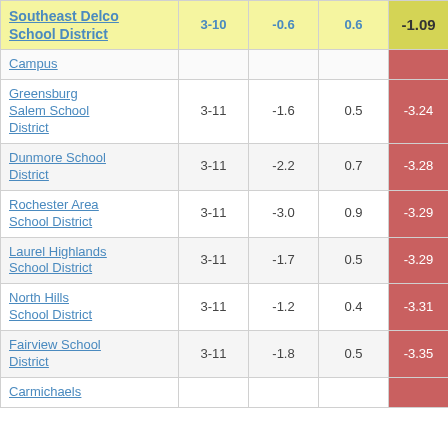|  | Grades |  |  |  |
| --- | --- | --- | --- | --- |
| Southeast Delco School District | 3-10 | -0.6 | 0.6 | -1.09 |
| Campus |  |  |  |  |
| Greensburg Salem School District | 3-11 | -1.6 | 0.5 | -3.24 |
| Dunmore School District | 3-11 | -2.2 | 0.7 | -3.28 |
| Rochester Area School District | 3-11 | -3.0 | 0.9 | -3.29 |
| Laurel Highlands School District | 3-11 | -1.7 | 0.5 | -3.29 |
| North Hills School District | 3-11 | -1.2 | 0.4 | -3.31 |
| Fairview School District | 3-11 | -1.8 | 0.5 | -3.35 |
| Carmichaels |  |  |  |  |